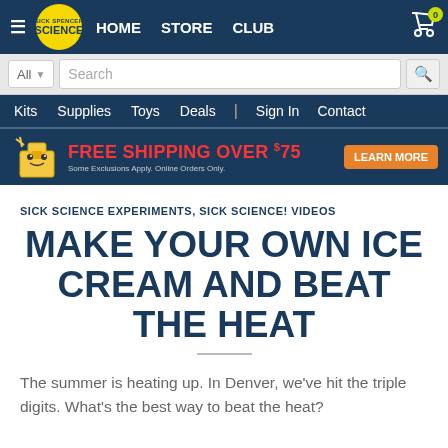HOME  STORE  CLUB
[Figure (screenshot): Sick Spencer Science logo in yellow circle]
Search
Kits  Supplies  Toys  Deals  |  Sign In  Contact
[Figure (infographic): Free Shipping Over $75 banner with box character and LEARN MORE button. Some Exclusions Apply. Online Orders Only.]
SICK SCIENCE EXPERIMENTS, SICK SCIENCE! VIDEOS
MAKE YOUR OWN ICE CREAM AND BEAT THE HEAT
The summer is heating up. In Denver, we've hit the triple digits. What's the best way to beat the heat?